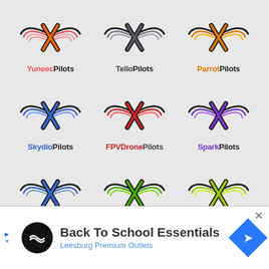[Figure (logo): 3x3 grid of drone pilot community logos: YuneecPilots, TelloPilots, ParrotPilots, SkydioPilots, FPVDronePilots, SparkPilots, DronePilots, 3DRPilots, OsmoPilots]
Site Links
Advertise - Contact Us - Premium Pilot Upgrades
Community Rules - Terms of Service - Privacy Policy
Manage Email Subscriptions
[Figure (infographic): Advertisement banner: Back To School Essentials - Leesburg Premium Outlets]